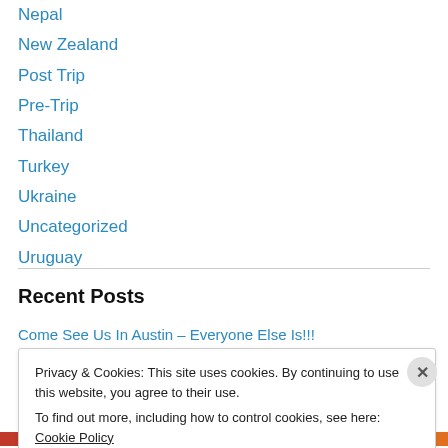New Zealand
Post Trip
Pre-Trip
Thailand
Turkey
Ukraine
Uncategorized
Uruguay
Recent Posts
Come See Us In Austin – Everyone Else Is!!!
Privacy & Cookies: This site uses cookies. By continuing to use this website, you agree to their use.
To find out more, including how to control cookies, see here: Cookie Policy
Close and accept